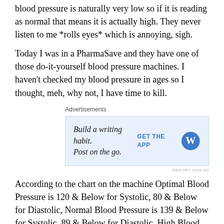blood pressure is naturally very low so if it is reading as normal that means it is actually high. They never listen to me *rolls eyes* which is annoying, sigh.
Today I was in a PharmaSave and they have one of those do-it-yourself blood pressure machines. I haven't checked my blood pressure in ages so I thought, meh, why not, I have time to kill.
[Figure (other): Advertisement banner: 'Build a writing habit. Post on the go.' with GET THE APP button and WordPress logo]
According to the chart on the machine Optimal Blood Pressure is 120 & Below for Systolic, 80 & Below for Diastolic, Normal Blood Pressure is 139 & Below for Systolic, 89 & Below for Diastolic, High Blood Pressure is 140 & above for Systolic, 90 & above for Diastolic.